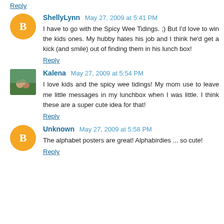Reply
ShellyLynn  May 27, 2009 at 5:41 PM
I have to go with the Spicy Wee Tidings. ;) But I'd love to win the kids ones. My hubby hates his job and I think he'd get a kick (and smile) out of finding them in his lunch box!
Reply
Kalena  May 27, 2009 at 5:54 PM
I love kids and the spicy wee tidings! My mom use to leave me little messages in my lunchbox when I was little. I think these are a super cute idea for that!
Reply
Unknown  May 27, 2009 at 5:58 PM
The alphabet posters are great! Alphabirdies ... so cute!
Reply